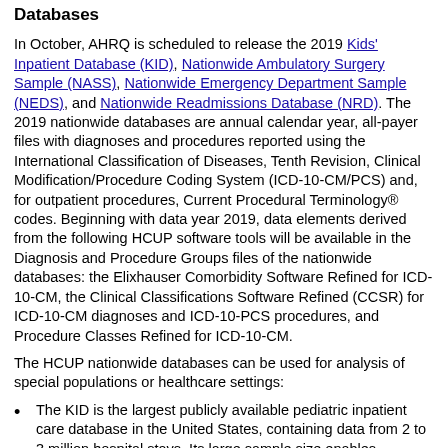Accessing HCUP 2019 KID, NASS, NEDS, and NRD Databases
In October, AHRQ is scheduled to release the 2019 Kids' Inpatient Database (KID), Nationwide Ambulatory Surgery Sample (NASS), Nationwide Emergency Department Sample (NEDS), and Nationwide Readmissions Database (NRD). The 2019 nationwide databases are annual calendar year, all-payer files with diagnoses and procedures reported using the International Classification of Diseases, Tenth Revision, Clinical Modification/Procedure Coding System (ICD-10-CM/PCS) and, for outpatient procedures, Current Procedural Terminology® codes. Beginning with data year 2019, data elements derived from the following HCUP software tools will be available in the Diagnosis and Procedure Groups files of the nationwide databases: the Elixhauser Comorbidity Software Refined for ICD-10-CM, the Clinical Classifications Software Refined (CCSR) for ICD-10-CM diagnoses and ICD-10-PCS procedures, and Procedure Classes Refined for ICD-10-CM.
The HCUP nationwide databases can be used for analysis of special populations or healthcare settings:
The KID is the largest publicly available pediatric inpatient care database in the United States, containing data from 2 to 3 million hospital stays. Its large sample size enables analyses of rare conditions, such as congenital anomalies, as well as outcomes, resource use, and costs associated with neonatal care.